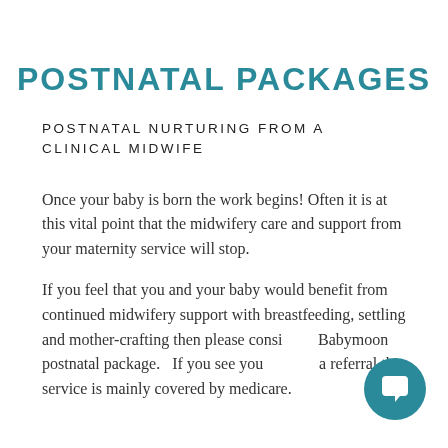POSTNATAL PACKAGES
POSTNATAL NURTURING FROM A CLINICAL MIDWIFE
Once your baby is born the work begins! Often it is at this vital point that the midwifery care and support from your maternity service will stop.
If you feel that you and your baby would benefit from continued midwifery support with breastfeeding, settling and mother-crafting then please consider a Babymoon postnatal package.  If you see your GP for a referral this service is mainly covered by medicare.